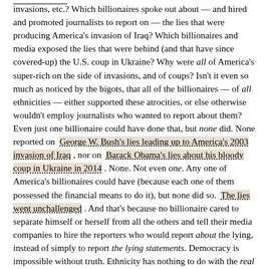invasions, etc.? Which billionaires spoke out about — and hired and promoted journalists to report on — the lies that were producing America's invasion of Iraq? Which billionaires and media exposed the lies that were behind (and that have since covered-up) the U.S. coup in Ukraine? Why were all of America's super-rich on the side of invasions, and of coups? Isn't it even so much as noticed by the bigots, that all of the billionaires — of all ethnicities — either supported these atrocities, or else otherwise wouldn't employ journalists who wanted to report about them? Even just one billionaire could have done that, but none did. None reported on George W. Bush's lies leading up to America's 2003 invasion of Iraq, nor on Barack Obama's lies about his bloody coup in Ukraine in 2014. None. Not even one. Any one of America's billionaires could have (because each one of them possessed the financial means to do it), but none did so. The lies went unchallenged. And that's because no billionaire cared to separate himself or herself from all the others and tell their media companies to hire the reporters who would report about the lying, instead of simply to report the lying statements. Democracy is impossible without truth. Ethnicity has nothing to do with the real problem.